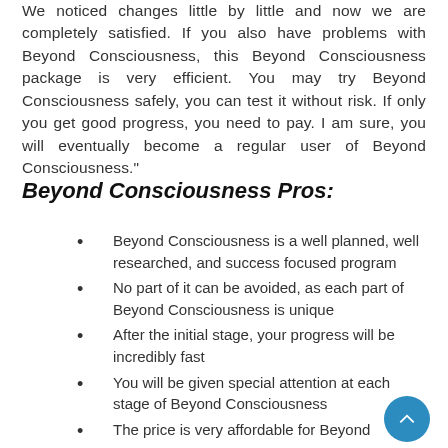We noticed changes little by little and now we are completely satisfied. If you also have problems with Beyond Consciousness, this Beyond Consciousness package is very efficient. You may try Beyond Consciousness safely, you can test it without risk. If only you get good progress, you need to pay. I am sure, you will eventually become a regular user of Beyond Consciousness.”
Beyond Consciousness Pros:
Beyond Consciousness is a well planned, well researched, and success focused program
No part of it can be avoided, as each part of Beyond Consciousness is unique
After the initial stage, your progress will be incredibly fast
You will be given special attention at each stage of Beyond Consciousness
The price is very affordable for Beyond